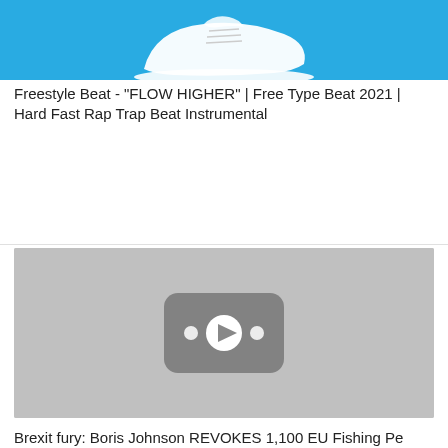[Figure (screenshot): Video thumbnail with blue background and white sneaker/shoe image at top]
Freestyle Beat - "FLOW HIGHER" | Free Type Beat 2021 | Hard Fast Rap Trap Beat Instrumental
[Figure (screenshot): Gray video thumbnail with YouTube-style play button overlay in the center]
Brexit fury: Boris Johnson REVOKES 1,100 EU Fishing Pe